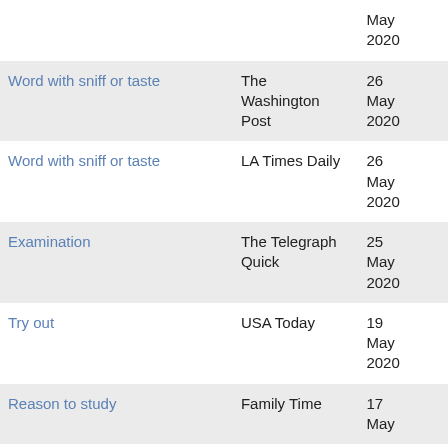| Clue | Publication | Date |
| --- | --- | --- |
|  |  | May
2020 |
| Word with sniff or taste | The Washington Post | 26
May
2020 |
| Word with sniff or taste | LA Times Daily | 26
May
2020 |
| Examination | The Telegraph Quick | 25
May
2020 |
| Try out | USA Today | 19
May
2020 |
| Reason to study | Family Time | 17
May |